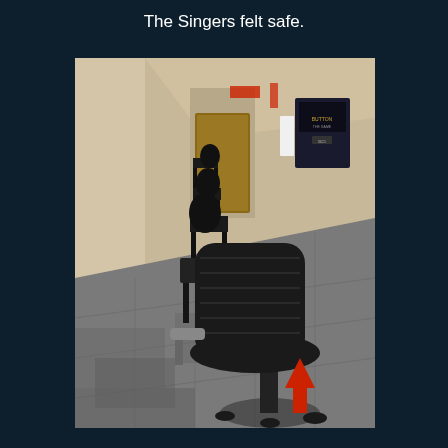The Singers felt safe.
[Figure (photo): A hallway or corridor with beige/cream walls and grey carpet tile flooring. Multiple black office chairs and small dark desks are lined up along the left wall, receding into the distance toward a wooden door at the far end. In the foreground on the right is a large black office chair with an armrest visible on the left side and a red upward-pointing arrow annotation overlaid near the lower right of the chair. On the right wall there is a sign/poster. An exit sign and fire alarm are visible near the ceiling at the far end.]